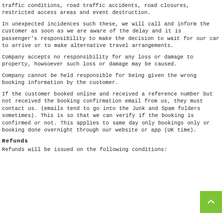traffic conditions, road traffic accidents, road closures, restricted access areas and event destruction.
In unexpected incidences such these, we will call and inform the customer as soon as we are aware of the delay and it is passenger's responsibility to make the decision to wait for our car to arrive or to make alternative travel arrangements.
Company accepts no responsibility for any loss or damage to property, howsoever such loss or damage may be caused.
Company cannot be held responsible for being given the wrong booking information by the customer.
If the customer booked online and received a reference number but not received the booking confirmation email from us, they must contact us. (emails tend to go into the Junk and Spam folders sometimes). This is so that we can verify if the booking is confirmed or not. This applies to same day only bookings only or booking done overnight through our website or app (UK time).
Refunds
Refunds will be issued on the following conditions: